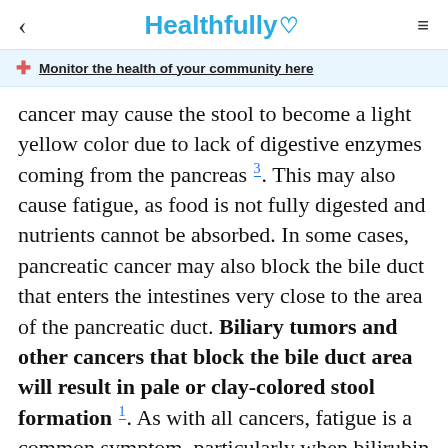Healthfully ♡
Monitor the health of your community here
cancer may cause the stool to become a light yellow color due to lack of digestive enzymes coming from the pancreas 3. This may also cause fatigue, as food is not fully digested and nutrients cannot be absorbed. In some cases, pancreatic cancer may also block the bile duct that enters the intestines very close to the area of the pancreatic duct. Biliary tumors and other cancers that block the bile duct area will result in pale or clay-colored stool formation 1. As with all cancers, fatigue is a common symptom, particularly when bilirubin levels are elevated.